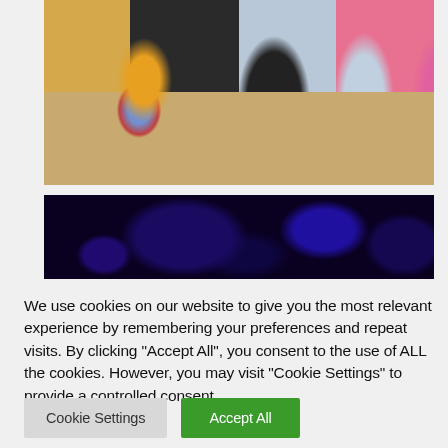[Figure (photo): Photo of four children/people standing side by side, cropped at torso level. From left: person in yellow top with khaki shorts holding a blue backpack with red strap; person in dark/black hoodie and dark shorts; person in light blue jeans and light top; person in pink patterned outfit.]
[Figure (photo): Dark blue/purple abstract or blurred background image, appears to be a thumbnail or still from a video with dark indigo tones.]
We use cookies on our website to give you the most relevant experience by remembering your preferences and repeat visits. By clicking "Accept All", you consent to the use of ALL the cookies. However, you may visit "Cookie Settings" to provide a controlled consent.